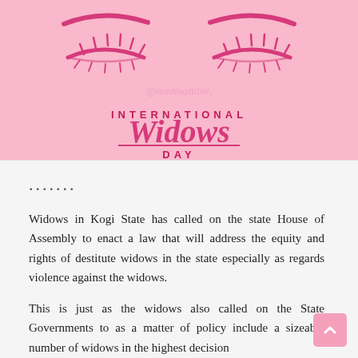[Figure (illustration): Pink banner with illustrated closed eyes and eyebrows above text reading INTERNATIONAL Widows DAY in pink lettering on a pink background, with a faint watermark text]
.......
Widows in Kogi State has called on the state House of Assembly to enact a law that will address the equity and rights of destitute widows in the state especially as regards violence against the widows.
This is just as the widows also called on the State Governments to as a matter of policy include a sizeable number of widows in the highest decision